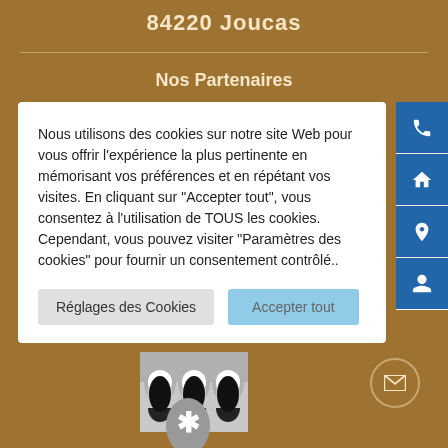84220 Joucas
Nos Partenaires
Nous utilisons des cookies sur notre site Web pour vous offrir l'expérience la plus pertinente en mémorisant vos préférences et en répétant vos visites. En cliquant sur "Accepter tout", vous consentez à l'utilisation de TOUS les cookies. Cependant, vous pouvez visiter "Paramètres des cookies" pour fournir un consentement contrôlé..
Réglages des Cookies
Accepter tout
[Figure (photo): Arch/aqueduct illustration at bottom of the page]
[Figure (illustration): Gray oval with asterisk and partial face icon at bottom center]